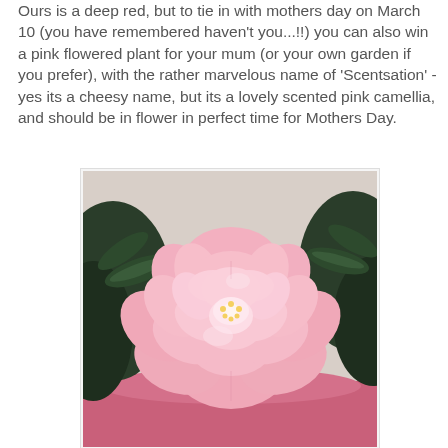Ours is a deep red, but to tie in with mothers day on March 10 (you have remembered haven't you...!!) you can also win a pink flowered plant for your mum (or your own garden if you prefer), with the rather marvelous name of 'Scentsation' - yes its a cheesy name, but its a lovely scented pink camellia, and should be in flower in perfect time for Mothers Day.
[Figure (photo): A large, full pink camellia flower with multiple layered petals, shown in a pink pot with dark green glossy leaves in the background. The flower is light pink with a slightly deeper pink center.]